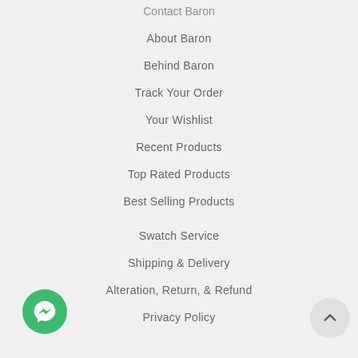Contact Baron
About Baron
Behind Baron
Track Your Order
Your Wishlist
Recent Products
Top Rated Products
Best Selling Products
Swatch Service
Shipping & Delivery
Alteration, Return, & Refund
Privacy Policy